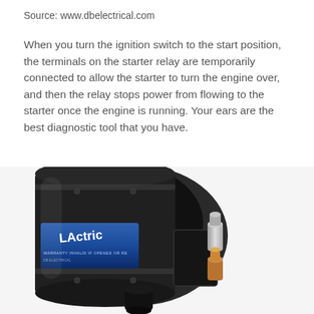Source: www.dbelectrical.com
When you turn the ignition switch to the start position, the terminals on the starter relay are temporarily connected to allow the starter to turn the engine over, and then the relay stops power from flowing to the starter once the engine is running. Your ears are the best diagnostic tool that you have.
[Figure (photo): Photo of a starter relay solenoid component, cylindrical black metal body with a blue label reading 'LActric' (DB Electrical brand), with electrical terminal posts and connector on the right side, shown at an angle against a white background.]